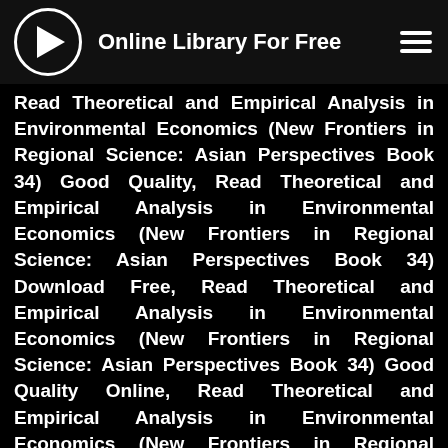Online Library For Free
Read Theoretical and Empirical Analysis in Environmental Economics (New Frontiers in Regional Science: Asian Perspectives Book 34) Good Quality, Read Theoretical and Empirical Analysis in Environmental Economics (New Frontiers in Regional Science: Asian Perspectives Book 34) Download Free, Read Theoretical and Empirical Analysis in Environmental Economics (New Frontiers in Regional Science: Asian Perspectives Book 34) Good Quality Online, Read Theoretical and Empirical Analysis in Environmental Economics (New Frontiers in Regional Science: Asian Perspectives Book 34) Free Reddit, Download Theoretical and Empirical Analysis in Environmental Economics (New Frontiers in Regional Science: Asian Perspectives Book 34) Good Quality, Download Theoretical and Empirical Analysis in